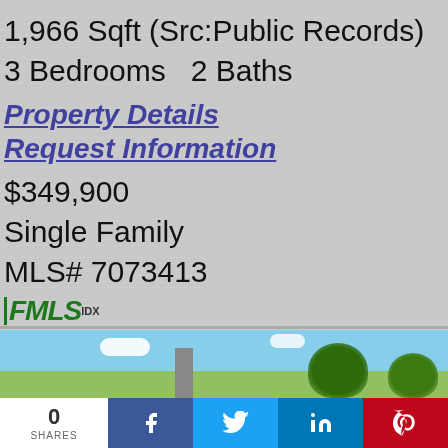1,966 Sqft (Src:Public Records)
3 Bedrooms   2 Baths
Property Details
Request Information
$349,900
Single Family
MLS# 7073413
[Figure (logo): FMLS IDX logo in green]
[Figure (photo): Exterior photo of a house with blue sky and trees]
0
SHARES